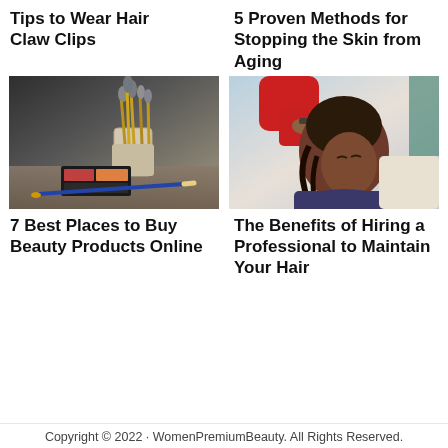Tips to Wear Hair Claw Clips
5 Proven Methods for Stopping the Skin from Aging
[Figure (photo): Makeup brushes in a holder with cosmetics on a table]
[Figure (photo): A professional styling a young girl's hair with braids]
7 Best Places to Buy Beauty Products Online
The Benefits of Hiring a Professional to Maintain Your Hair
Copyright © 2022 · WomenPremiumBeauty. All Rights Reserved.